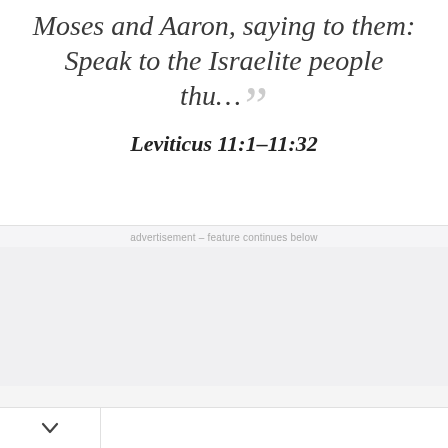Moses and Aaron, saying to them: Speak to the Israelite people thu… ”
Leviticus 11:1-11:32
advertisement – feature continues below